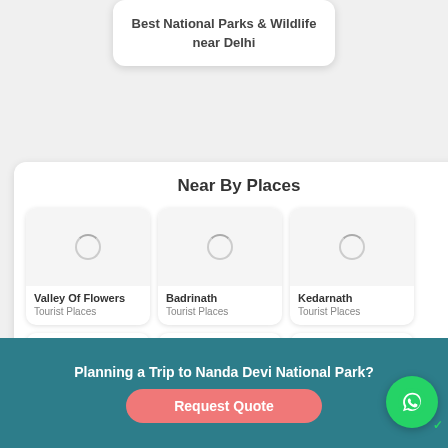Best National Parks & Wildlife near Delhi
Near By Places
Valley Of Flowers
Tourist Places
Badrinath
Tourist Places
Kedarnath
Tourist Places
Planning a Trip to Nanda Devi National Park?
Request Quote